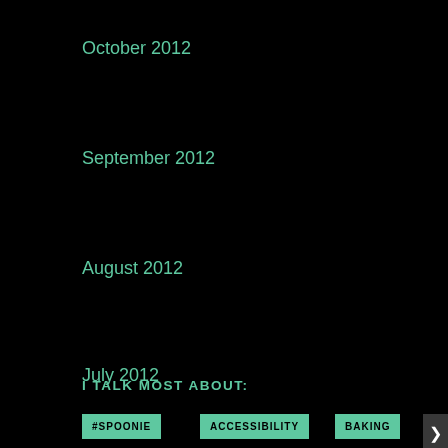October 2012
September 2012
August 2012
July 2012
I TALK MOST ABOUT:
#SPOONIE
ACCESSIBILITY
BAKING
BBC
Privacy & Cookies: This site uses cookies. By continuing to use this website, you agree to their use.
To find out more, including how to control cookies, see here: Cookie Policy
Close and accept